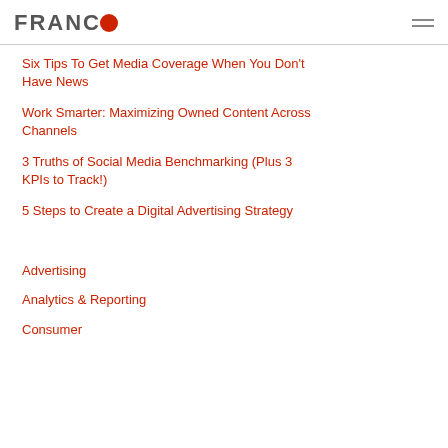FRANCO
Six Tips To Get Media Coverage When You Don't Have News
Work Smarter: Maximizing Owned Content Across Channels
3 Truths of Social Media Benchmarking (Plus 3 KPIs to Track!)
5 Steps to Create a Digital Advertising Strategy
Advertising
Analytics & Reporting
Consumer